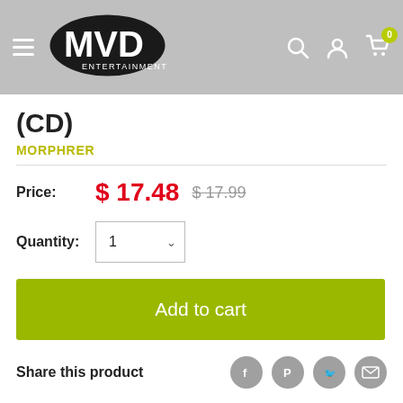MVD Entertainment Group — navigation header with search, account, and cart (0 items)
(CD)
MORPHRER
Price: $17.48   $17.99
Quantity: 1
Add to cart
Share this product